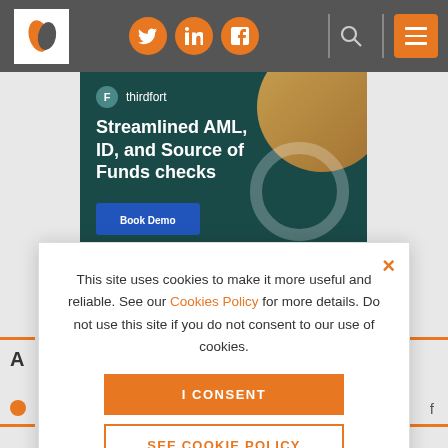[Figure (screenshot): Website navigation bar with logo, social icons (Twitter, LinkedIn, Facebook), search and menu button]
[Figure (screenshot): Thirdfort advertisement banner: 'Streamlined AML, ID, and Source of Funds checks' on dark teal background with decorative circles and Book Demo button]
This site uses cookies to make it more useful and reliable. See our Cookies Policy for more details. Do not use this site if you do not consent to our use of cookies.
I CONSENT
SEE COOKIE POLICY